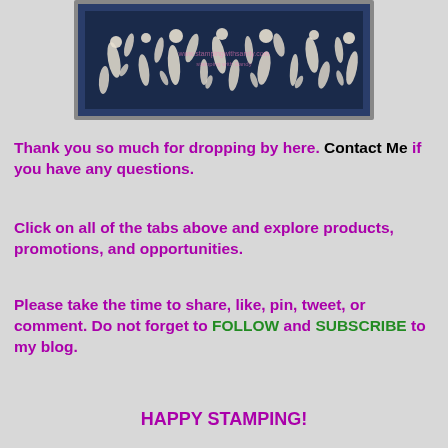[Figure (photo): A quilted fabric piece with dark navy blue background and white floral/botanical pattern showing flowers, leaves, and stems. The fabric has a border trim.]
Thank you so much for dropping by here. Contact Me if you have any questions.
Click on all of the tabs above and explore products, promotions, and opportunities.
Please take the time to share, like, pin, tweet, or comment. Do not forget to FOLLOW and SUBSCRIBE to my blog.
HAPPY STAMPING!